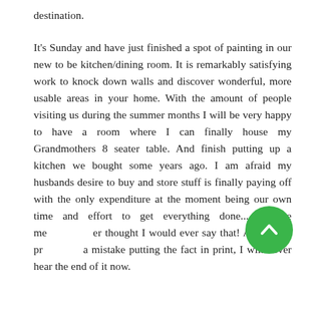destination.
It's Sunday and have just finished a spot of painting in our new to be kitchen/dining room. It is remarkably satisfying work to knock down walls and discover wonderful, more usable areas in your home. With the amount of people visiting us during the summer months I will be very happy to have a room where I can finally house my Grandmothers 8 seater table. And finish putting up a kitchen we bought some years ago. I am afraid my husbands desire to buy and store stuff is finally paying off with the only expenditure at the moment being our own time and effort to get everything done... Believe me [icon] er thought I would ever say that! And it was pr[icon]a mistake putting the fact in print, I will never hear the end of it now.
[Figure (other): Green circular button with upward-pointing chevron/arrow icon]